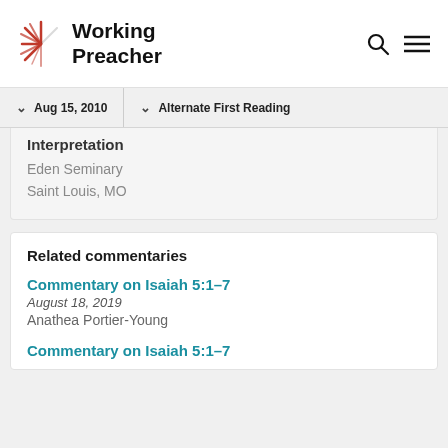Working Preacher
Aug 15, 2010 | Alternate First Reading
Interpretation
Eden Seminary
Saint Louis, MO
Related commentaries
Commentary on Isaiah 5:1-7
August 18, 2019
Anathea Portier-Young
Commentary on Isaiah 5:1-7